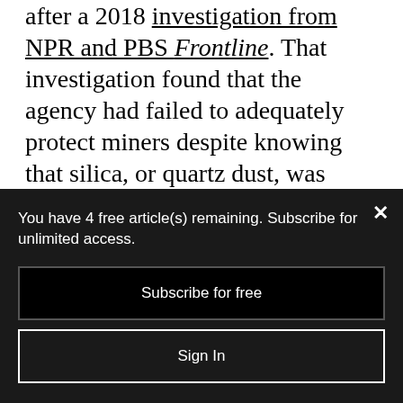after a 2018 investigation from NPR and PBS Frontline. That investigation found that the agency had failed to adequately protect miners despite knowing that silica, or quartz dust, was contributing to an epidemic of black lung. Silica dust is produced from cutting into layers of rock surrounding coal seams. At least 10 percent of coal miners with 25 or more years of underground work
You have 4 free article(s) remaining. Subscribe for unlimited access.
Subscribe for free
Sign In